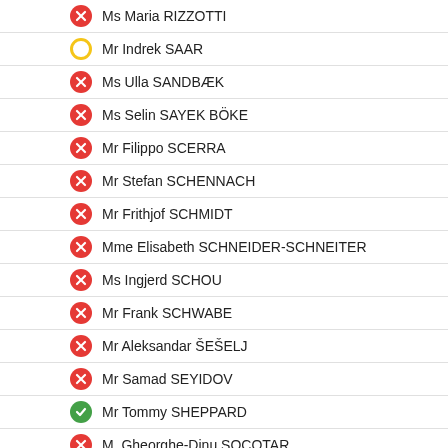Ms Maria RIZZOTTI
Mr Indrek SAAR
Ms Ulla SANDBÆK
Ms Selin SAYEK BÖKE
Mr Filippo SCERRA
Mr Stefan SCHENNACH
Mr Frithjof SCHMIDT
Mme Elisabeth SCHNEIDER-SCHNEITER
Ms Ingjerd SCHOU
Mr Frank SCHWABE
Mr Aleksandar ŠEŠELJ
Mr Samad SEYIDOV
Mr Tommy SHEPPARD
M. Gheorghe-Dinu SOCOTAR
Ms Olena SOTNYK
Ms Petra STIENEN
Ms Simona SURIANO